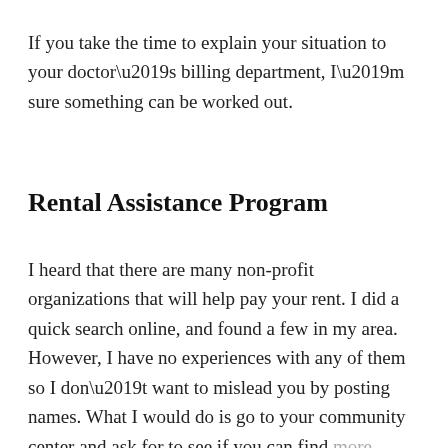If you take the time to explain your situation to your doctor’s billing department, I’m sure something can be worked out.
Rental Assistance Program
I heard that there are many non-profit organizations that will help pay your rent. I did a quick search online, and found a few in my area. However, I have no experiences with any of them so I don’t want to mislead you by posting names. What I would do is go to your community center and ask for to see if you can find more information. Libraries and the city hall may also be good places to look this information up.